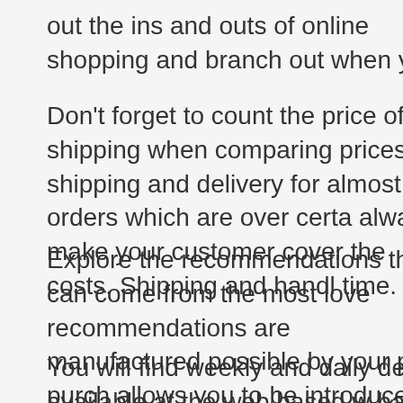out the ins and outs of online shopping and branch out when you
Don't forget to count the price of shipping when comparing prices. Many online shops offers free shipping and delivery for almost any orders which are over certain amount. However, some always make your customer cover the costs. Shipping and handling may also take a lot of time.
Explore the recommendations that can come from the most loved online stores. These recommendations are manufactured possible by your past purchases and searches. This also allows you to be introduced to new products you could like and similar to your previously purchased products.
You will find weekly and daily deals available at the web based websites you visit. Check back often to discover your preferred online stores to discover offers. While you can get a great bargain in a flash sale, check out the p